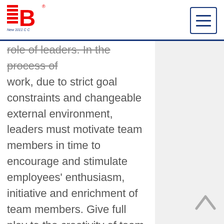New 1011 C C [logo] [hamburger menu]
role of leaders. In the process of work, due to strict goal constraints and changeable external environment, leaders must motivate team members in time to encourage and stimulate employees' enthusiasm, initiative and enrichment of team members. Give full play to the creativity of team members. Seventh, flexible authorization and timely decision-making: leaders